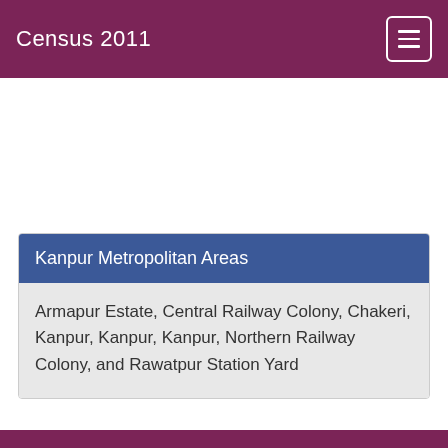Census 2011
Kanpur Metropolitan Areas
Armapur Estate, Central Railway Colony, Chakeri, Kanpur, Kanpur, Kanpur, Northern Railway Colony, and Rawatpur Station Yard